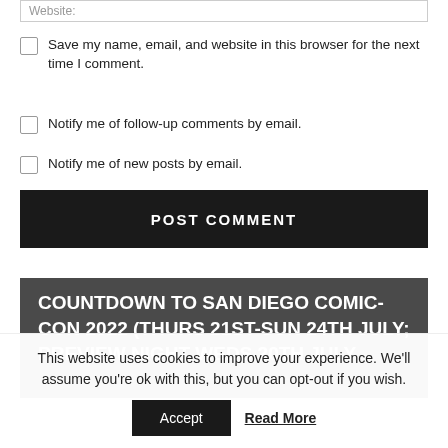Website:
Save my name, email, and website in this browser for the next time I comment.
Notify me of follow-up comments by email.
Notify me of new posts by email.
POST COMMENT
COUNTDOWN TO SAN DIEGO COMIC-CON 2022 (THURS 21ST-SUN 24TH JULY; PREVIEW NIGHT WEDS 20TH JULY
This website uses cookies to improve your experience. We'll assume you're ok with this, but you can opt-out if you wish.
Accept
Read More